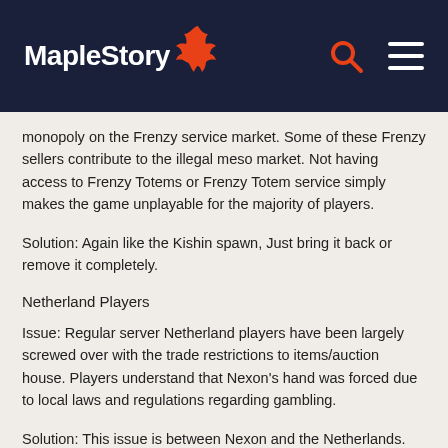MapleStory
monopoly on the Frenzy service market. Some of these Frenzy sellers contribute to the illegal meso market. Not having access to Frenzy Totems or Frenzy Totem service simply makes the game unplayable for the majority of players.
Solution: Again like the Kishin spawn, Just bring it back or remove it completely.
Netherland Players
Issue: Regular server Netherland players have been largely screwed over with the trade restrictions to items/auction house. Players understand that Nexon's hand was forced due to local laws and regulations regarding gambling.
Solution: This issue is between Nexon and the Netherlands.
Nexon Account Recovery System Loophole